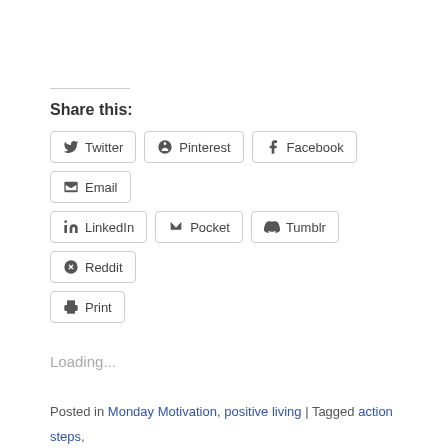Share this:
Twitter | Pinterest | Facebook | Email | LinkedIn | Pocket | Tumblr | Reddit | Print
Loading...
Posted in Monday Motivation, positive living | Tagged action steps, direction, dreams, finances, goal setting, goals, learning, lessons, Monday Motivation, money, motivation, positive living, positive thinking, success, taking action | Leave a comment